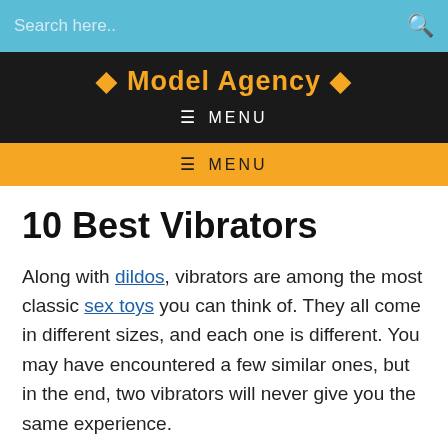Search here..
◆ Model Agency ◆
≡ MENU
≡ MENU
10 Best Vibrators
Along with dildos, vibrators are among the most classic sex toys you can think of. They all come in different sizes, and each one is different. You may have encountered a few similar ones, but in the end, two vibrators will never give you the same experience.